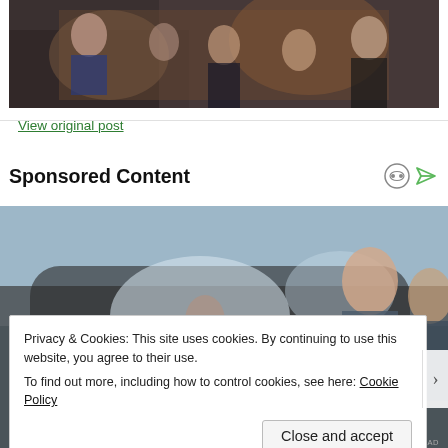[Figure (photo): Group of people socializing in a bar/pub setting, drinking and talking around a table]
View original post
Sponsored Content
[Figure (photo): People near a car, one person looking through car window smiling]
Privacy & Cookies: This site uses cookies. By continuing to use this website, you agree to their use.
To find out more, including how to control cookies, see here: Cookie Policy
Close and accept